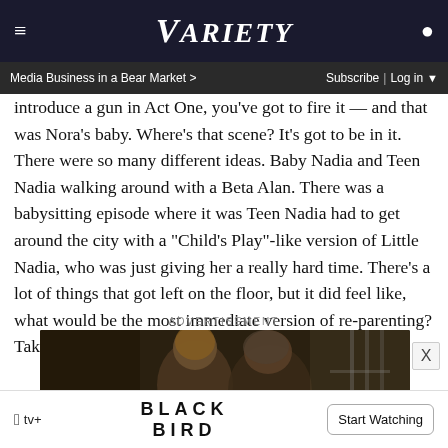VARIETY — Media Business in a Bear Market > | Subscribe | Log in
introduce a gun in Act One, you've got to fire it — and that was Nora's baby. Where's that scene? It's got to be in it. There were so many different ideas. Baby Nadia and Teen Nadia walking around with a Beta Alan. There was a babysitting episode where it was Teen Nadia had to get around the city with a "Child's Play"-like version of Little Nadia, who was just giving her a really hard time. There's a lot of things that got left on the floor, but it did feel like, what would be the most immediate version of re-parenting? Take the baby.
ADVERTISEMENT
[Figure (photo): Advertisement image showing two people in a dark scene, for Apple TV+ show Black Bird]
[Figure (other): Apple TV+ Black Bird advertisement banner with Start Watching button]